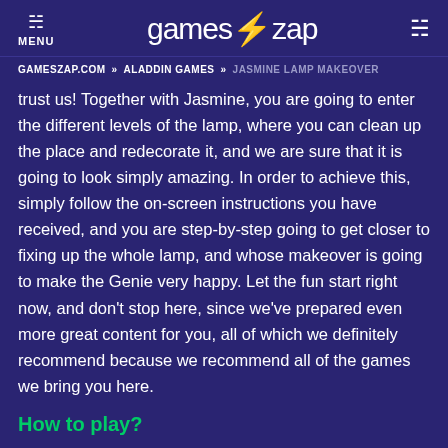MENU | games⚡zap
GAMESZAP.COM » ALADDIN GAMES » JASMINE LAMP MAKEOVER
trust us! Together with Jasmine, you are going to enter the different levels of the lamp, where you can clean up the place and redecorate it, and we are sure that it is going to look simply amazing. In order to achieve this, simply follow the on-screen instructions you have received, and you are step-by-step going to get closer to fixing up the whole lamp, and whose makeover is going to make the Genie very happy. Let the fun start right now, and don't stop here, since we've prepared even more great content for you, all of which we definitely recommend because we recommend all of the games we bring you here.
How to play?
Use the mouse.